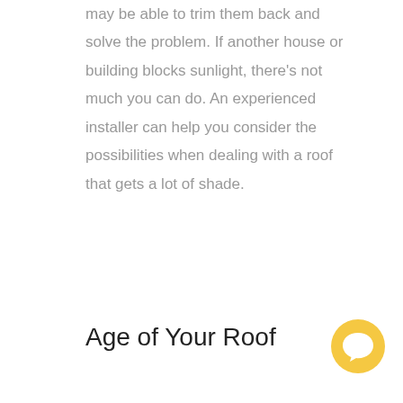may be able to trim them back and solve the problem. If another house or building blocks sunlight, there's not much you can do. An experienced installer can help you consider the possibilities when dealing with a roof that gets a lot of shade.
Age of Your Roof
[Figure (illustration): Yellow circular chat bubble icon with a speech bubble symbol in white]